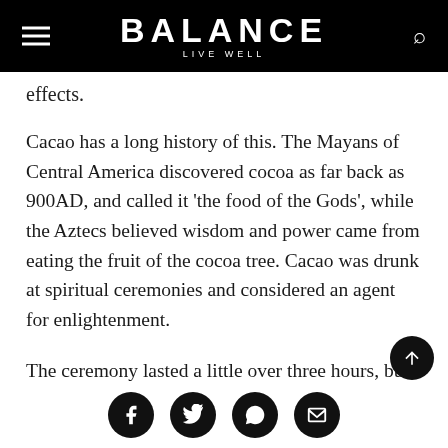BALANCE — LIVE WELL
effects.
Cacao has a long history of this. The Mayans of Central America discovered cocoa as far back as 900AD, and called it 'the food of the Gods', while the Aztecs believed wisdom and power came from eating the fruit of the cocoa tree. Cacao was drunk at spiritual ceremonies and considered an agent for enlightenment.
The ceremony lasted a little over three hours, but we were warned the next few nights' sleep might be interesting. I had vivid, strange dreams, which
Social share buttons: Facebook, Twitter, WhatsApp, Email